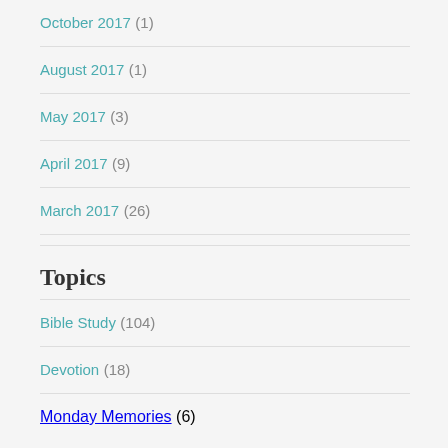October 2017 (1)
August 2017 (1)
May 2017 (3)
April 2017 (9)
March 2017 (26)
Topics
Bible Study (104)
Devotion (18)
Monday Memories (6)